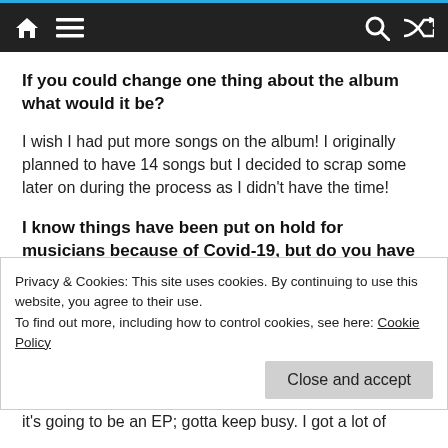Navigation bar with home, menu, search, and shuffle icons
If you could change one thing about the album what would it be?
I wish I had put more songs on the album! I originally planned to have 14 songs but I decided to scrap some later on during the process as I didn't have the time!
I know things have been put on hold for musicians because of Covid-19, but do you have any future
Privacy & Cookies: This site uses cookies. By continuing to use this website, you agree to their use.
To find out more, including how to control cookies, see here: Cookie Policy
it's going to be an EP; gotta keep busy. I got a lot of